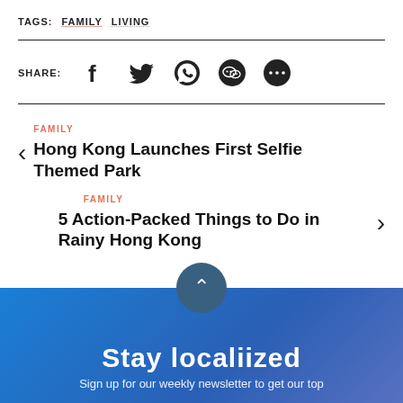TAGS:  FAMILY  LIVING
SHARE:
FAMILY
Hong Kong Launches First Selfie Themed Park
FAMILY
5 Action-Packed Things to Do in Rainy Hong Kong
Stay localiized
Sign up for our weekly newsletter to get our top